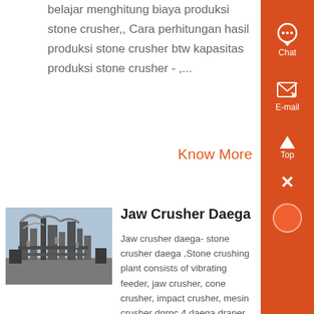belajar menghitung biaya produksi stone crusher,, Cara perhitungan hasil produksi stone crusher btw kapasitas produksi stone crusher - ,...
Know More
Jaw Crusher Daega
Jaw crusher daega- stone crusher daega ,Stone crushing plant consists of vibrating feeder, jaw crusher, cone crusher, impact crusher, mesin crusher dgrpc 4 daega draper oil filter crusher , Home gt Crusher Rental San Diego
[Figure (photo): Industrial stone crushing plant facility with machinery and pipes against a sky background]